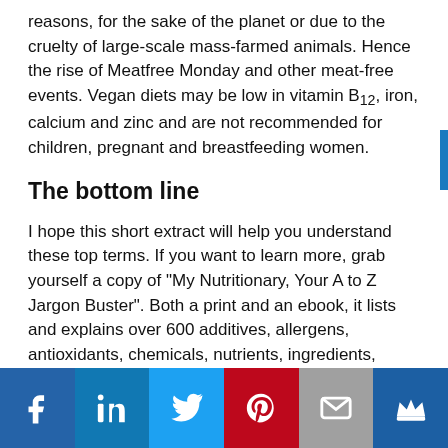reasons, for the sake of the planet or due to the cruelty of large-scale mass-farmed animals. Hence the rise of Meatfree Monday and other meat-free events. Vegan diets may be low in vitamin B12, iron, calcium and zinc and are not recommended for children, pregnant and breastfeeding women.
The bottom line
I hope this short extract will help you understand these top terms. If you want to learn more, grab yourself a copy of "My Nutritionary, Your A to Z Jargon Buster". Both a print and an ebook, it lists and explains over 600 additives, allergens, antioxidants, chemicals, nutrients, ingredients, acronyms and nutrition terms. To buy your copy of the print book, click here. To buy your copy of the eBook, click here.